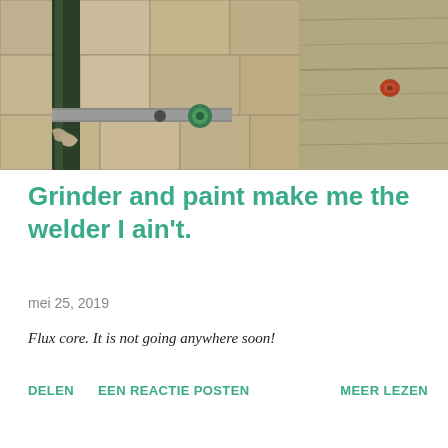[Figure (photo): Two side-by-side close-up photos: left shows a dark green metal bracket or post against a stone wall with a green bolt/screw hardware piece; right shows a wooden surface with a small rust-colored mark.]
Grinder and paint make me the welder I ain't.
mei 25, 2019
Flux core. It is not going anywhere soon!
DELEN   EEN REACTIE POSTEN   MEER LEZEN